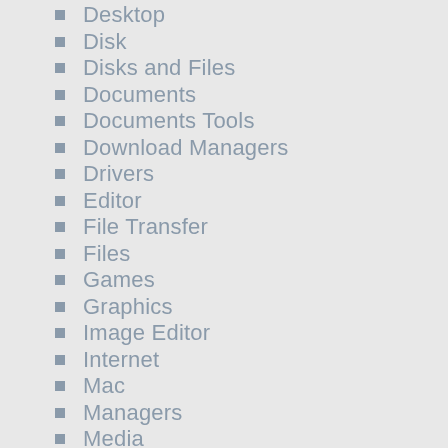Desktop
Disk
Disks and Files
Documents
Documents Tools
Download Managers
Drivers
Editor
File Transfer
Files
Games
Graphics
Image Editor
Internet
Mac
Managers
Media